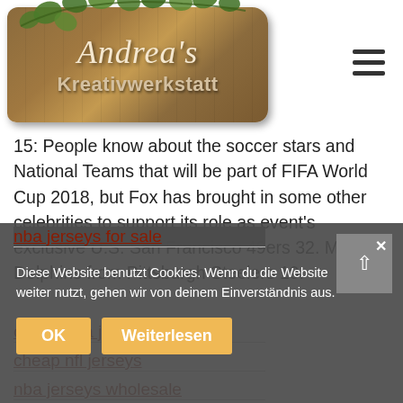[Figure (logo): Andrea's Kreativwerkstatt wooden sign logo with ivy decoration and hamburger menu icon]
15: People know about the soccer stars and National Teams that will be part of FIFA World Cup 2018, but Fox has brought in some other celebrities to support its role as event's exclusive U.S. San Francisco 49ers 32. Miami Dolphins from Pittsburgh Steelers 19.
cheap nba jerseys
cheap nfl jerseys
nba jerseys wholesale
nba jerseys for sale
wholesale nfl jerseys cheap
cheap nfl jerseys usa
wholesale nhl jerseys
wholesale jerseys free shipping
Diese Website benutzt Cookies. Wenn du die Website weiter nutzt, gehen wir von deinem Einverständnis aus.